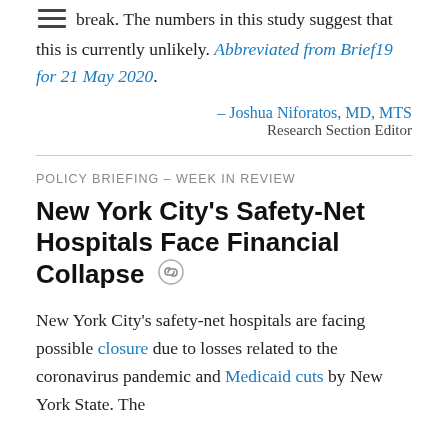been observed to have occurred during the OS break. The numbers in this study suggest that this is currently unlikely. Abbreviated from Brief19 for 21 May 2020.
– Joshua Niforatos, MD, MTS
Research Section Editor
POLICY BRIEFING – WEEK IN REVIEW
New York City's Safety-Net Hospitals Face Financial Collapse
New York City's safety-net hospitals are facing possible closure due to losses related to the coronavirus pandemic and Medicaid cuts by New York State. The